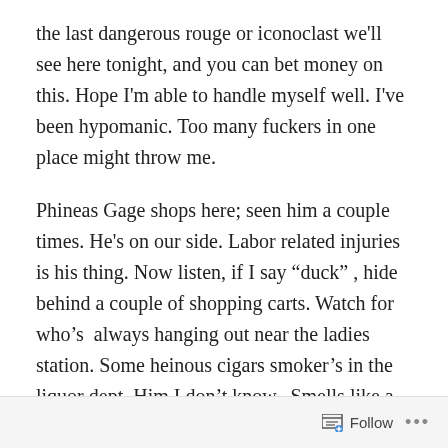the last dangerous rouge or iconoclast we'll see here tonight, and you can bet money on this. Hope I'm able to handle myself well. I've been hypomanic. Too many fuckers in one place might throw me.
Phineas Gage shops here; seen him a couple times. He's on our side. Labor related injuries is his thing. Now listen, if I say “duck” , hide behind a couple of shopping carts. Watch for who’s  always hanging out near the ladies station. Some heinous cigars smoker’s in the liquor dept. Him I don’t know.  Smells like a rapist. Since none of the twenty -seven serious proposals to divide California in thirds ever saw the legislative light of day, we’re more ungovernable now than ever. You think it was bad in '05? Hell, nothing has been done and now it's too late. Do you
Follow ...